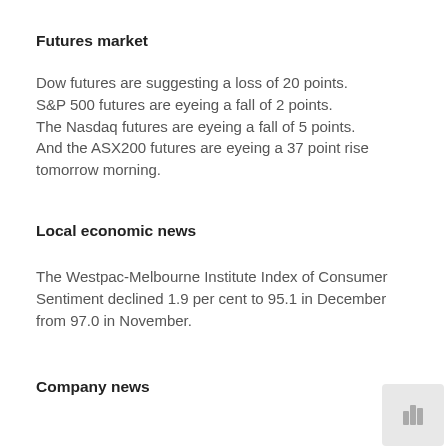Futures market
Dow futures are suggesting a loss of 20 points.
S&P 500 futures are eyeing a fall of 2 points.
The Nasdaq futures are eyeing a fall of 5 points.
And the ASX200 futures are eyeing a 37 point rise tomorrow morning.
Local economic news
The Westpac-Melbourne Institute Index of Consumer Sentiment declined 1.9 per cent to 95.1 in December from 97.0 in November.
Company news